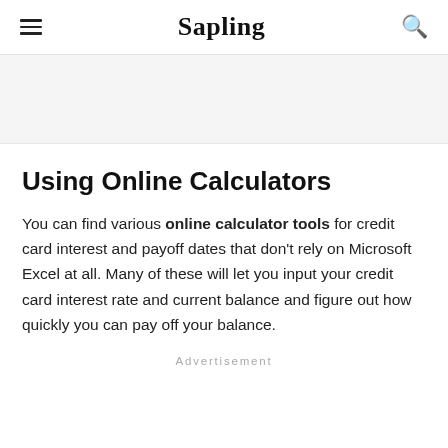Sapling
Using Online Calculators
You can find various online calculator tools for credit card interest and payoff dates that don't rely on Microsoft Excel at all. Many of these will let you input your credit card interest rate and current balance and figure out how quickly you can pay off your balance.
Advertisement